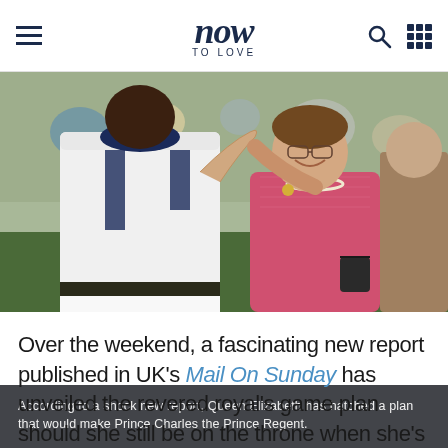now TO LOVE
[Figure (photo): A woman in a pink outfit smiling and holding hands with a man in a white polo shirt at a polo event, with a crowd in the background.]
According to a shock new report, Queen Elizabeth has hatched a plan that would make Prince Charles the Prince Regent.
Over the weekend, a fascinating new report published in UK's Mail On Sunday has unveiled the revered royal's game plan should she still be on the throne when she's